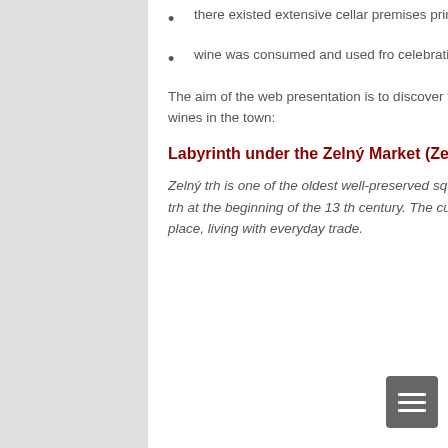there existed extensive cellar premises primarily used for production, storage and trade in wine,
wine was consumed and used fro celebrations on usual and very extensive basis.
The aim of the web presentation is to discover the half-forgotten face of Brno town and to follow the steps of Moravian wines in the town:
Labyrinth under the Zelný Market (Zelný trh)
Zelný trh is one of the oldest well-preserved squares in Brno. It was mentioned for the first time under the name Horní trh at the beginning of the 13 th century. The current name dates back to the 15 th century. It has always been a busy place, living with everyday trade.